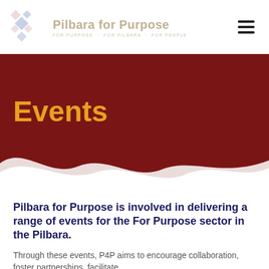Pilbara for Purpose
[Figure (illustration): Pilbara for Purpose logo with diamond/cross pattern and tagline FOR PURPOSE · FOR PILBARA · FOR PEOPLE]
Events
Pilbara for Purpose is involved in delivering a range of events for the For Purpose sector in the Pilbara.
Through these events, P4P aims to encourage collaboration, foster partnerships, facilitate